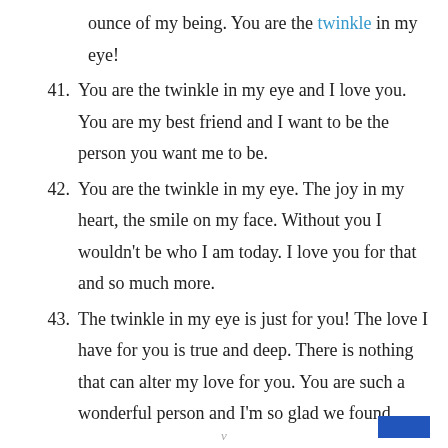ounce of my being. You are the twinkle in my eye!
41. You are the twinkle in my eye and I love you. You are my best friend and I want to be the person you want me to be.
42. You are the twinkle in my eye. The joy in my heart, the smile on my face. Without you I wouldn't be who I am today. I love you for that and so much more.
43. The twinkle in my eye is just for you! The love I have for you is true and deep. There is nothing that can alter my love for you. You are such a wonderful person and I'm so glad we found